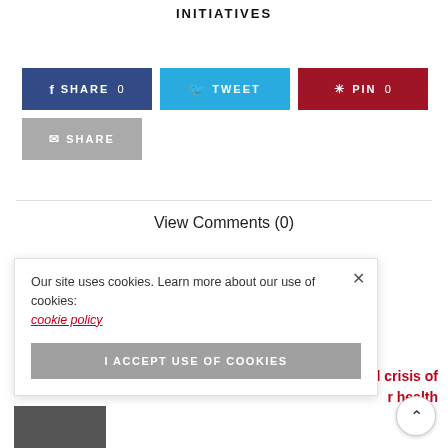INITIATIVES
[Figure (other): Social sharing buttons row: Facebook SHARE 0, Twitter TWEET, Pinterest PIN 0; below: Email SHARE button]
View Comments (0)
Our site uses cookies. Learn more about our use of cookies: cookie policy
I ACCEPT USE OF COOKIES
obal crisis of
r health